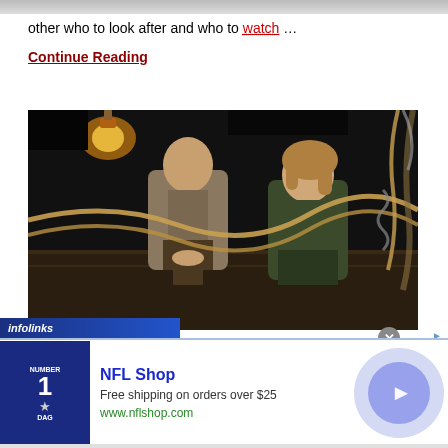other who to look after and who to watch …
Continue Reading
[Figure (photo): Two young actors sitting on wooden crates in a dark scene with ropes and chains, appearing to be tied up. A lantern glows in the upper left. Movie or TV still.]
infolinks
[Figure (screenshot): NFL Shop advertisement showing a Dallas Cowboys jersey with number 1, text 'NFL Shop', 'Free shipping on orders over $25', 'www.nflshop.com', and a circular play button on the right.]